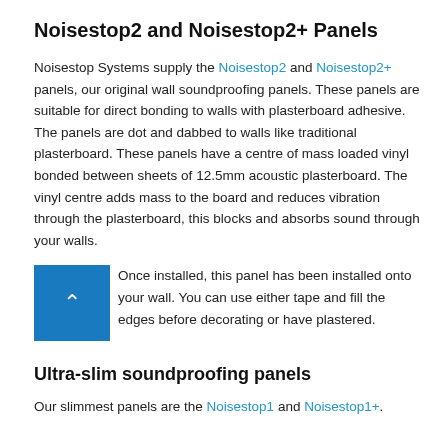Noisestop2 and Noisestop2+ Panels
Noisestop Systems supply the Noisestop2 and Noisestop2+ panels, our original wall soundproofing panels. These panels are suitable for direct bonding to walls with plasterboard adhesive. The panels are dot and dabbed to walls like traditional plasterboard. These panels have a centre of mass loaded vinyl bonded between sheets of 12.5mm acoustic plasterboard. The vinyl centre adds mass to the board and reduces vibration through the plasterboard, this blocks and absorbs sound through your walls.
Once installed, this panel has been installed onto your wall. You can use either tape and fill the edges before decorating or have plastered.
Ultra-slim soundproofing panels
Our slimmest panels are the Noisestop1 and Noisestop1+.